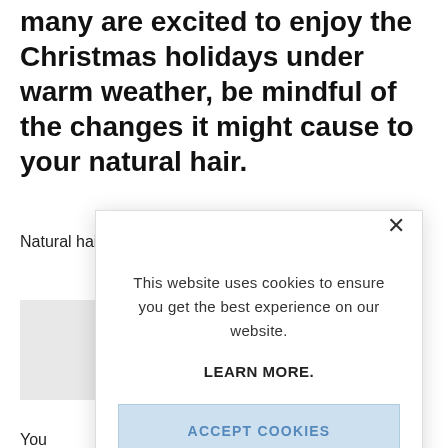many are excited to enjoy the Christmas holidays under warm weather, be mindful of the changes it might cause to your natural hair.
Natural hair is sensitive and requires maintenance
You prot
Hot
Duri
[Figure (screenshot): Cookie consent modal dialog with close button (×), text 'This website uses cookies to ensure you get the best experience on our website.', a LEARN MORE. link, and an ACCEPT COOKIES button.]